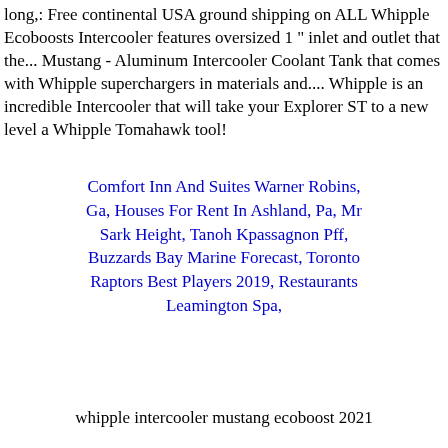long,: Free continental USA ground shipping on ALL Whipple Ecoboosts Intercooler features oversized 1 " inlet and outlet that the... Mustang - Aluminum Intercooler Coolant Tank that comes with Whipple superchargers in materials and.... Whipple is an incredible Intercooler that will take your Explorer ST to a new level a Whipple Tomahawk tool!
Comfort Inn And Suites Warner Robins, Ga, Houses For Rent In Ashland, Pa, Mr Sark Height, Tanoh Kpassagnon Pff, Buzzards Bay Marine Forecast, Toronto Raptors Best Players 2019, Restaurants Leamington Spa,
whipple intercooler mustang ecoboost 2021